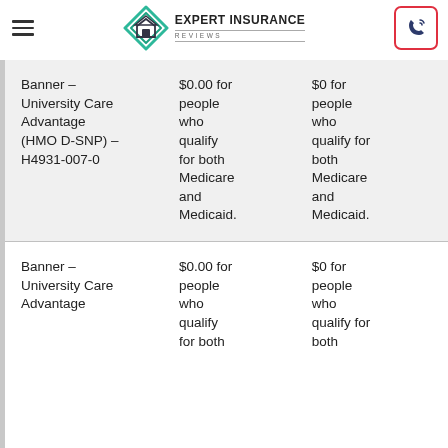Expert Insurance Reviews
| Plan | Column 2 | Column 3 |
| --- | --- | --- |
| Banner – University Care Advantage (HMO D-SNP) – H4931-007-0 | $0.00 for people who qualify for both Medicare and Medicaid. | $0 for people who qualify for both Medicare and Medicaid. |
| Banner – University Care Advantage | $0.00 for people who qualify for both | $0 for people who qualify for both |